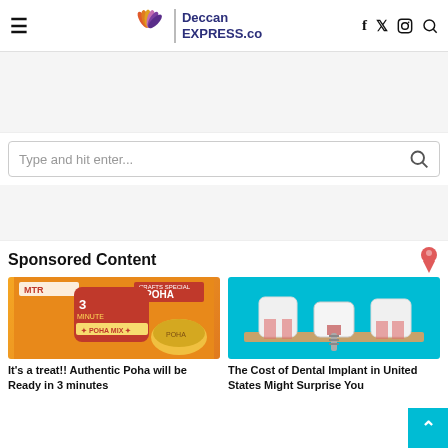Deccan EXPRESS.co — website header with hamburger menu, logo, and social icons
[Figure (screenshot): Search bar with placeholder text 'Type and hit enter...' and search icon]
Sponsored Content
[Figure (photo): MTR 3 Minute Poha product image on orange background]
[Figure (illustration): Dental implant cross-section illustration on cyan background]
It's a treat!! Authentic Poha will be Ready in 3 minutes
The Cost of Dental Implant in United States Might Surprise You